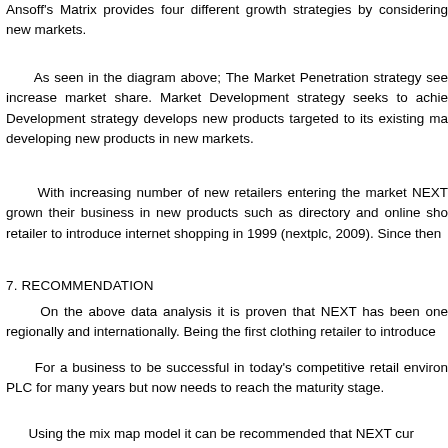Ansoff's Matrix provides four different growth strategies by considering new markets.
As seen in the diagram above; The Market Penetration strategy seeks to increase market share. Market Development strategy seeks to achieve Development strategy develops new products targeted to its existing markets developing new products in new markets.
With increasing number of new retailers entering the market NEXT grown their business in new products such as directory and online shopping retailer to introduce internet shopping in 1999 (nextplc, 2009). Since then
7. RECOMMENDATION
On the above data analysis it is proven that NEXT has been one regionally and internationally. Being the first clothing retailer to introduce
For a business to be successful in today's competitive retail environment PLC for many years but now needs to reach the maturity stage.
Using the mix map model it can be recommended that NEXT currently